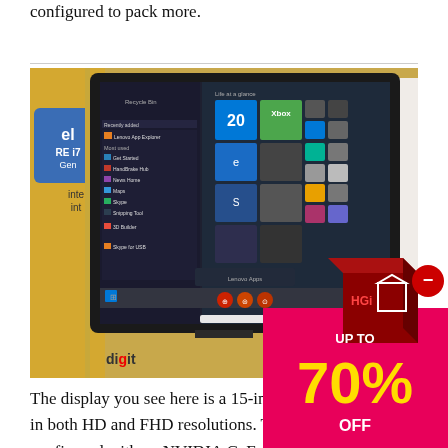configured to pack more.
[Figure (photo): A Lenovo laptop displaying Windows 10 Start menu on a 15-inch screen, shown at a trade show or retail setting with Intel Core i7 branding visible. The digit logo appears in the bottom left corner of the image.]
[Figure (infographic): Advertisement overlay: red and pink box showing '16i' logo and a 3D cube icon, with text 'UP TO 70% OFF' in large bold yellow/white text on pink/magenta background.]
The display you see here is a 15-inch pan ll be available in both HD and FHD resolutions. The laptop can also be configured with an NVIDIA GeForce 920MX. You can also get the Ideapad 20S